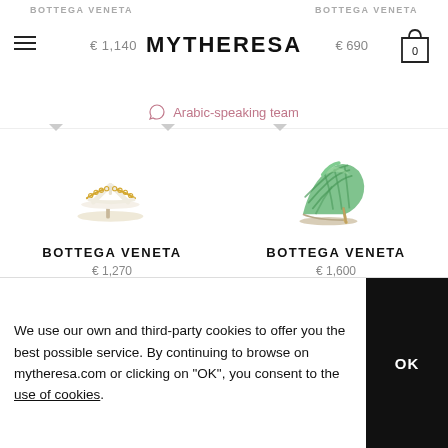MYTHERESA — € 1,140  € 690
Arabic-speaking team
[Figure (photo): White thong sandal with gold chain detail on a kitten heel — Bottega Veneta product photo on white background]
[Figure (photo): Green metallic woven mule high heel sandal — Bottega Veneta product photo on white background]
BOTTEGA VENETA
€ 1,270
BOTTEGA VENETA
€ 1,600
We use our own and third-party cookies to offer you the best possible service. By continuing to browse on mytheresa.com or clicking on "OK", you consent to the use of cookies.